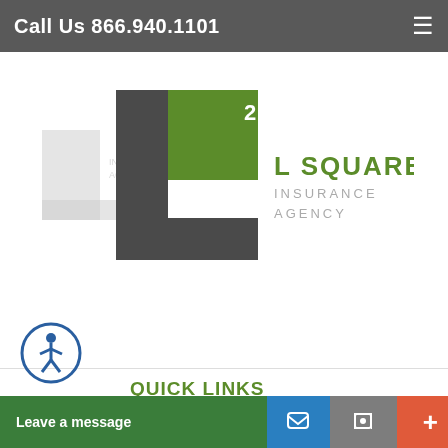Call Us 866.940.1101
[Figure (logo): L Squared Insurance Agency logo — large L-shape in dark gray with green square containing superscript 2, text L SQUARED INSURANCE AGENCY in green and gray]
QUICK LINKS
Home
About Us
Our Products
Refer A Friend
Customer Service
Our Carriers
Payment Options
Blog
Common Terms
Contact Us
Leave a message